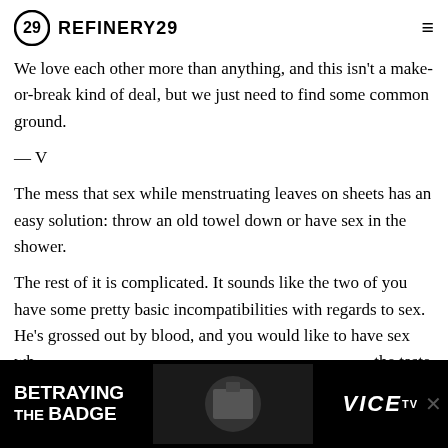REFINERY29
We love each other more than anything, and this isn't a make-or-break kind of deal, but we just need to find some common ground.
— V
The mess that sex while menstruating leaves on sheets has an easy solution: throw an old towel down or have sex in the shower.
The rest of it is complicated. It sounds like the two of you have some pretty basic incompatibilities with regards to sex. He's grossed out by blood, and you would like to have sex wh... the taste of his semen, and by him ejaculating on your body.
[Figure (screenshot): Advertisement banner for 'Betraying the Badge' on VICE TV]